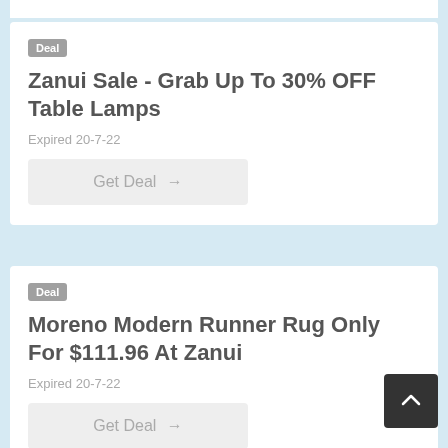[Figure (screenshot): Deal card: 'Zanui Sale - Grab Up To 30% OFF Table Lamps', Expired 20-7-22, Get Deal button]
[Figure (screenshot): Deal card: 'Moreno Modern Runner Rug Only For $111.96 At Zanui', Expired 20-7-22, Get Deal button, with scroll-to-top button]